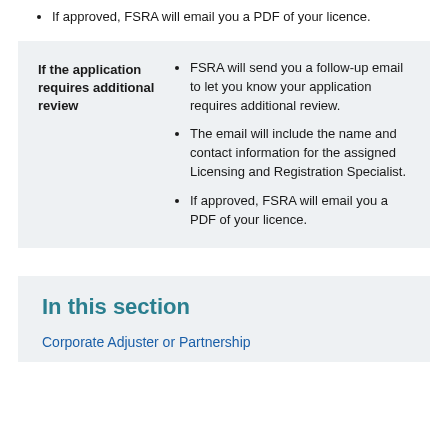If approved, FSRA will email you a PDF of your licence.
| Condition | Details |
| --- | --- |
| If the application requires additional review | FSRA will send you a follow-up email to let you know your application requires additional review. | The email will include the name and contact information for the assigned Licensing and Registration Specialist. | If approved, FSRA will email you a PDF of your licence. |
In this section
Corporate Adjuster or Partnership